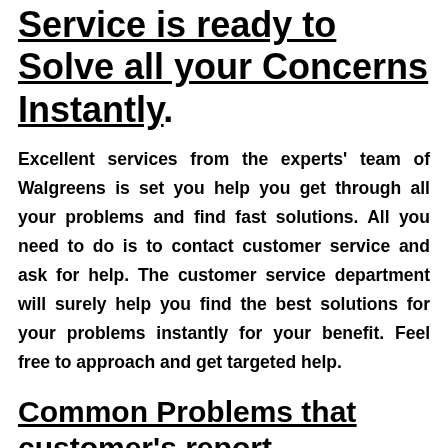Service is ready to Solve all your Concerns Instantly.
Excellent services from the experts' team of Walgreens is set you help you get through all your problems and find fast solutions. All you need to do is to contact customer service and ask for help. The customer service department will surely help you find the best solutions for your problems instantly for your benefit. Feel free to approach and get targeted help.
Common Problems that customer's report-
In a world of diversity, every individual has a different opinion. And with that leads various problems for every